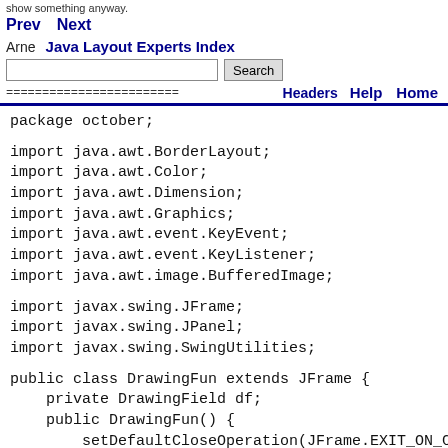show something anyway.
Prev   Next
Arne   Java Layout Experts Index
Search
Headers   Help   Home
package october;

import java.awt.BorderLayout;
import java.awt.Color;
import java.awt.Dimension;
import java.awt.Graphics;
import java.awt.event.KeyEvent;
import java.awt.event.KeyListener;
import java.awt.image.BufferedImage;

import javax.swing.JFrame;
import javax.swing.JPanel;
import javax.swing.SwingUtilities;

public class DrawingFun extends JFrame {
    private DrawingField df;
    public DrawingFun() {
        setDefaultCloseOperation(JFrame.EXIT_ON_CLOS
        getContentPane().setLayout(new
BorderLayout());